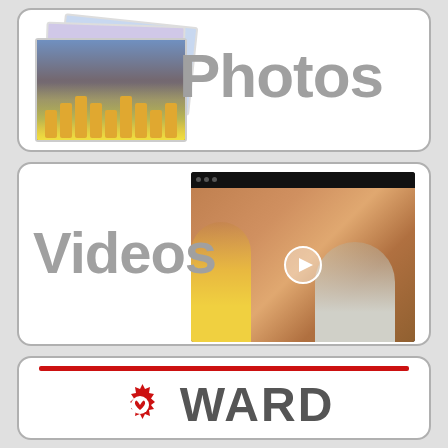[Figure (infographic): Card with stacked photos and large 'Photos' label in gray]
[Figure (infographic): Card with video thumbnail showing two people and large 'Videos' label in gray with play button]
[Figure (logo): Card with red horizontal line, WARD gear logo and WARD text in dark gray]